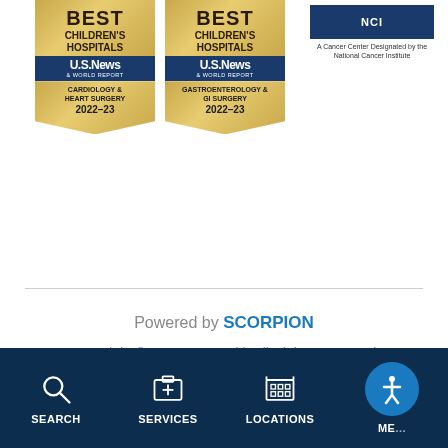[Figure (logo): US News Best Children's Hospitals badge for Cardiology & Heart Surgery 2022-23]
[Figure (logo): US News Best Children's Hospitals badge for Gastroenterology & GI Surgery 2022-23]
[Figure (logo): NCI Cancer Center Designated by the National Cancer Institute logo]
Powered by SCORPION
Copyright © 2022 OU Health All Rights Reserved
Terms of Use & Privacy Disclosures
Site Map
SEARCH  SERVICES  LOCATIONS  ME...